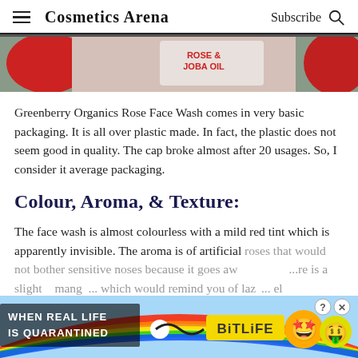Cosmetics Arena  Subscribe
[Figure (photo): Product photo showing Rose & Joba Oil face wash packaging, red cap visible, partial label text 'ROSE & JOBA OIL']
Greenberry Organics Rose Face Wash comes in very basic packaging. It is all over plastic made. In fact, the plastic does not seem good in quality. The cap broke almost after 20 usages. So, I consider it average packaging.
Colour, Aroma, & Texture:
The face wash is almost colourless with a mild red tint which is apparently invisible. The aroma is of artificial roses that would not bother sensitive noses because it goes aw... ...re is a slightly mango... which would remind you of lazy... el
[Figure (screenshot): Advertisement overlay: 'WHEN REAL LIFE IS QUARANTINED' with BitLife logo and mascot emoji characters]